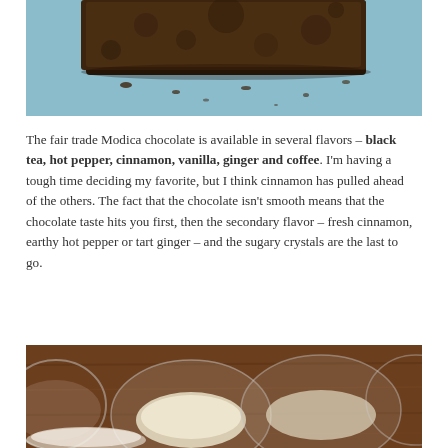[Figure (photo): Close-up photo of dark Modica chocolate bar on a light blue background, showing rough grainy texture]
The fair trade Modica chocolate is available in several flavors – black tea, hot pepper, cinnamon, vanilla, ginger and coffee. I'm having a tough time deciding my favorite, but I think cinnamon has pulled ahead of the others. The fact that the chocolate isn't smooth means that the chocolate taste hits you first, then the secondary flavor – fresh cinnamon, earthy hot pepper or tart ginger – and the sugary crystals are the last to go.
[Figure (photo): Photo of glass bowls containing white powdery spices on a wooden table surface]